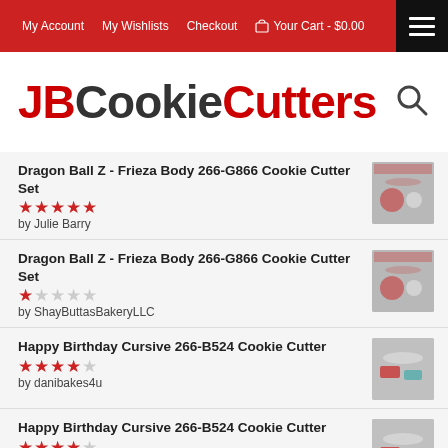My Account | My Wishlists | Checkout | Your Cart - $0.00
JBCookieCutters
Dragon Ball Z - Frieza Body 266-G866 Cookie Cutter Set
★★★★★ (5 stars)
by Julie Barry
Dragon Ball Z - Frieza Body 266-G866 Cookie Cutter Set
★ (1 star)
by ShayButtasBakeryLLC
Happy Birthday Cursive 266-B524 Cookie Cutter
★★★★ (4 stars)
by danibakes4u
Happy Birthday Cursive 266-B524 Cookie Cutter
★★★★ (4 stars)
by danibakes4u